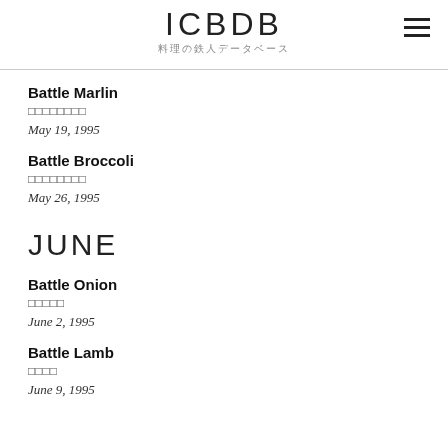ICBDB 料理の鉄人データベース
Battle Marlin
□□□□□□□□
May 19, 1995
Battle Broccoli
□□□□□□□□
May 26, 1995
JUNE
Battle Onion
□□□□□
June 2, 1995
Battle Lamb
□□□□
June 9, 1995